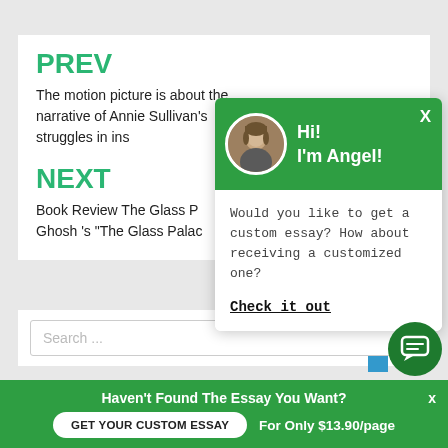PREV
The motion picture is about the narrative of Annie Sullivan's struggles in ins
NEXT
Book Review The Glass P Ghosh 's "The Glass Palac
Search ...
[Figure (screenshot): Chat popup with green header showing avatar of Angel, greeting 'Hi! I'm Angel!', body text 'Would you like to get a custom essay? How about receiving a customized one?' and a 'Check it out' link]
Haven't Found The Essay You Want?
GET YOUR CUSTOM ESSAY
For Only $13.90/page